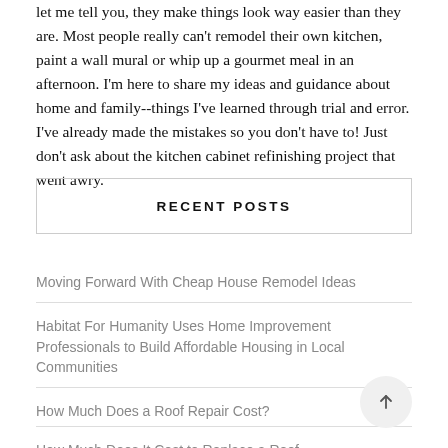let me tell you, they make things look way easier than they are. Most people really can't remodel their own kitchen, paint a wall mural or whip up a gourmet meal in an afternoon. I'm here to share my ideas and guidance about home and family--things I've learned through trial and error. I've already made the mistakes so you don't have to! Just don't ask about the kitchen cabinet refinishing project that went awry.
RECENT POSTS
Moving Forward With Cheap House Remodel Ideas
Habitat For Humanity Uses Home Improvement Professionals to Build Affordable Housing in Local Communities
How Much Does a Roof Repair Cost?
How Much Does It Cost to Replace a Roof